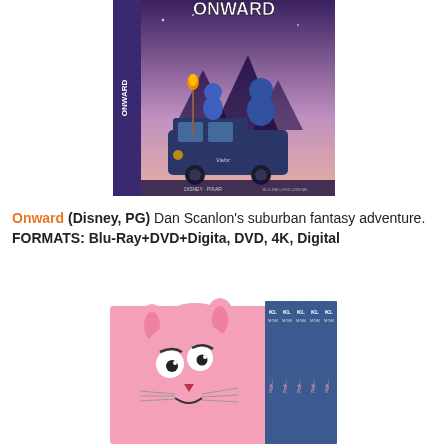[Figure (photo): Blu-ray/DVD box cover of Pixar's 'Onward' showing two blue elf brothers sitting on a van, with a staff bearing fire, purple/mountain background]
Onward (Disney, PG) Dan Scanlon's suburban fantasy adventure.
FORMATS: Blu-Ray+DVD+Digita, DVD, 4K, Digital
[Figure (photo): Pink Panther DVD box set collection showing the Pink Panther cartoon character peeking over a set of multiple DVD cases with 'KL' and 'MGM' branding]